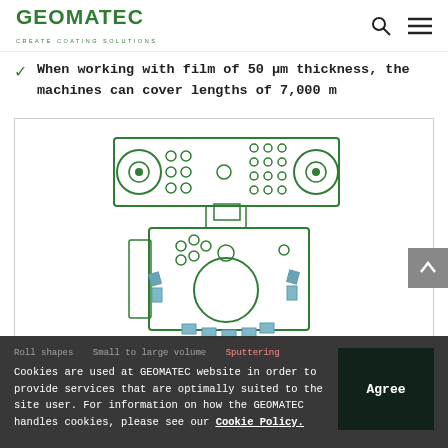GEOMATEC | CREATE COATING SOLUTIONS
When working with film of 50 μm thickness, the machines can cover lengths of 7,000 m
[Figure (engineering-diagram): Technical schematic of a roll-to-roll sputtering/coating machine showing top-view layout with feed rollers, guide rollers, a central drum, and magnetron sputtering targets (depicted as blue rectangles around the large drum). The diagram is rendered in green outlines on white background.]
Cookies are used at GEOMATEC website in order to provide services that are optimally suited to the site user. For information on how the GEOMATEC handles cookies, please see our Cookie Policy.
Roll shapes   Small to large volume   Sputtering